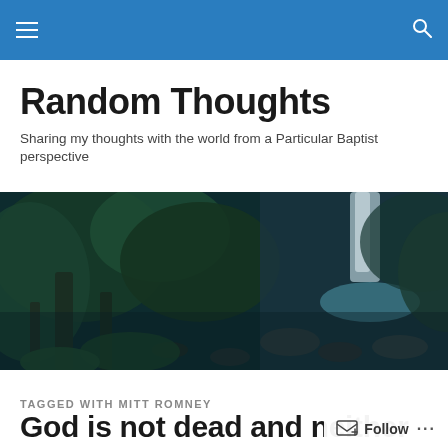Navigation bar with hamburger menu and search icon
Random Thoughts
Sharing my thoughts with the world from a Particular Baptist perspective
[Figure (photo): Dark forest scene with waterfall and rocky stream]
TAGGED WITH MITT ROMNEY
God is not dead and neither is Christianity in America